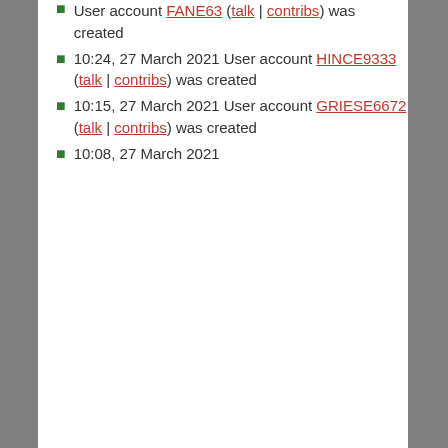User account FANE63 (talk | contribs) was created
10:24, 27 March 2021 User account HINCE9333 (talk | contribs) was created
10:15, 27 March 2021 User account GRIESE6672 (talk | contribs) was created
10:08, 27 March 2021